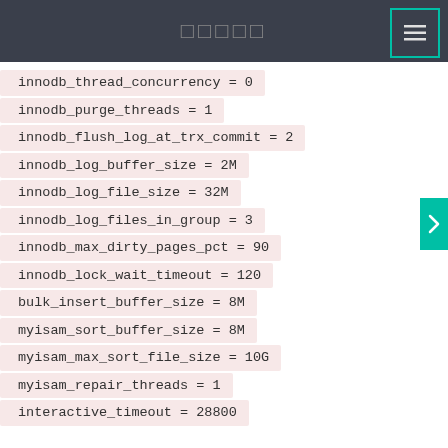□□□□□
innodb_thread_concurrency = 0
innodb_purge_threads = 1
innodb_flush_log_at_trx_commit = 2
innodb_log_buffer_size = 2M
innodb_log_file_size = 32M
innodb_log_files_in_group = 3
innodb_max_dirty_pages_pct = 90
innodb_lock_wait_timeout = 120
bulk_insert_buffer_size = 8M
myisam_sort_buffer_size = 8M
myisam_max_sort_file_size = 10G
myisam_repair_threads = 1
interactive_timeout = 28800